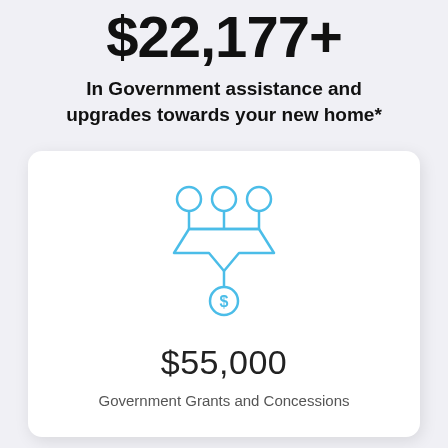$22,177+
In Government assistance and upgrades towards your new home*
[Figure (infographic): Funnel/grants icon showing three circles at top connected by lines to a funnel shape, with a dollar coin below, in light blue color]
$55,000
Government Grants and Concessions